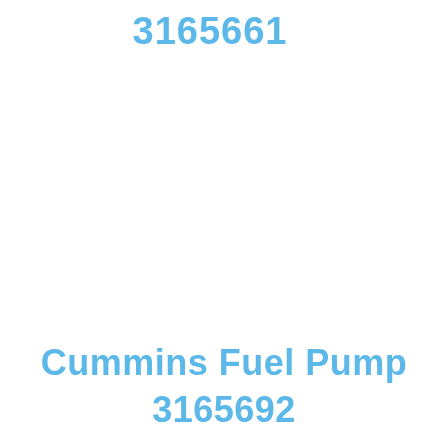3165661
Cummins Fuel Pump 3165692